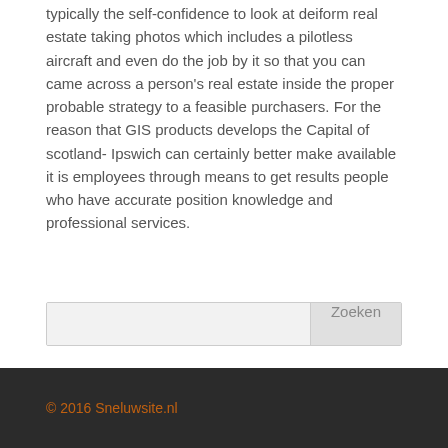typically the self-confidence to look at deiform real estate taking photos which includes a pilotless aircraft and even do the job by it so that you can came across a person's real estate inside the proper probable strategy to a feasible purchasers. For the reason that GIS products develops the Capital of scotland- Ipswich can certainly better make available it is employees through means to get results people who have accurate position knowledge and professional services.
Zoeken
© 2016 Sneluwsite.nl